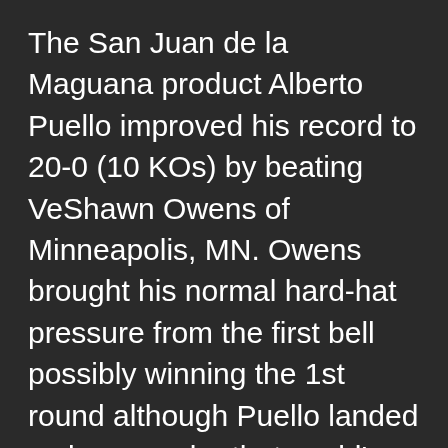The San Juan de la Maguana product Alberto Puello improved his record to 20-0 (10 KOs) by beating VeShawn Owens of Minneapolis, MN. Owens brought his normal hard-hat pressure from the first bell possibly winning the 1st round although Puello landed a clean combo that could've stolen round. In the 2nd round Puello showed his fast hands & accurate combos on the move. Owens was cut above his right eye in the third round from an accidental head clash. More fluid punching from the 140-pound mandatory in the WBA, Puello starting to take its toll a bit as his right hooks & left crosses kept finding a